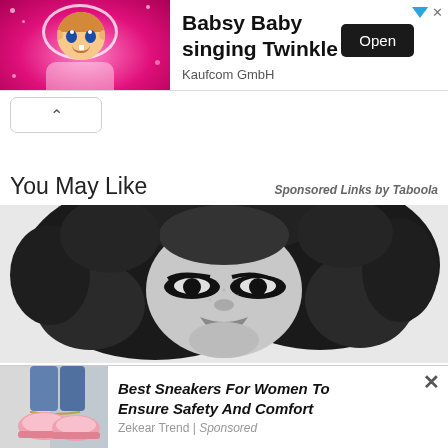[Figure (screenshot): App advertisement banner for 'Babsy Baby singing Twinkle' by Kaufcom GmbH, with animated baby image on pink background, black Open button on right, and close/sponsored icons in corner.]
[Figure (screenshot): Collapse/minimize chevron button bar below the ad banner.]
You May Like
Sponsored Links by Taboola
[Figure (illustration): Black and white halftone illustration of a woman with large curly hair, prominent eyes and eyelashes, dramatic styling.]
[Figure (screenshot): Bottom overlay advertisement showing pink sneakers image on left, with bold italic text 'Best Sneakers For Women To Ensure Safety And Comfort', source 'Zekear Trend | Sponsored', and close X button.]